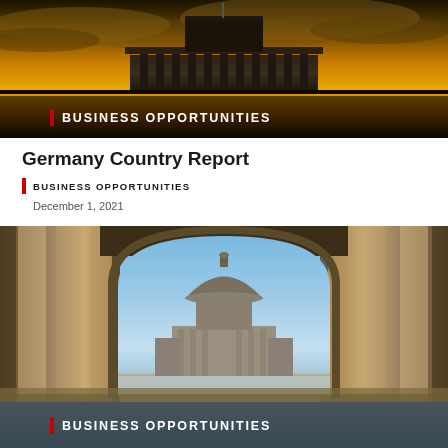[Figure (photo): Dramatic photo of a large neoclassical government building (Reichstag/parliament) at sunset with orange and golden sky, with 'BUSINESS OPPORTUNITIES' banner overlay at bottom]
Germany Country Report
BUSINESS OPPORTUNITIES
December 1, 2021
[Figure (photo): Photo of a classical European building with dome visible through an arched colonnade, with 'BUSINESS OPPORTUNITIES' banner overlay at bottom]